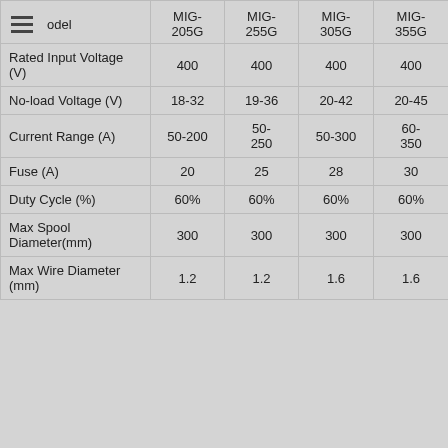| Model | MIG-205G | MIG-255G | MIG-305G | MIG-355G |
| --- | --- | --- | --- | --- |
| Rated Input Voltage (V) | 400 | 400 | 400 | 400 |
| No-load Voltage (V) | 18-32 | 19-36 | 20-42 | 20-45 |
| Current Range (A) | 50-200 | 50-250 | 50-300 | 60-350 |
| Fuse (A) | 20 | 25 | 28 | 30 |
| Duty Cycle (%) | 60% | 60% | 60% | 60% |
| Max Spool Diameter(mm) | 300 | 300 | 300 | 300 |
| Max Wire Diameter (mm) | 1.2 | 1.2 | 1.6 | 1.6 |